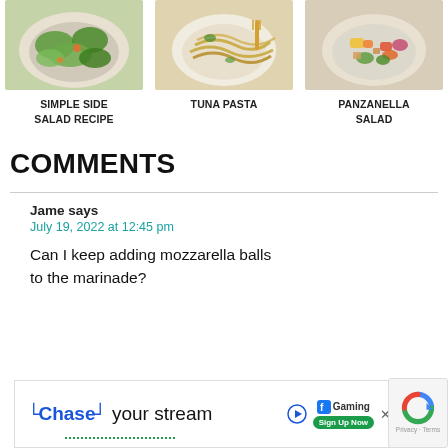[Figure (photo): Three food recipe images in a row: a green salad, a tuna pasta dish, and a panzanella salad]
SIMPLE SIDE SALAD RECIPE
TUNA PASTA
PANZANELLA SALAD
COMMENTS
Jame says
July 19, 2022 at 12:45 pm
Can I keep adding mozzarella balls to the marinade?
[Figure (screenshot): Chase your stream advertisement banner with Facebook Gaming logo and Sign Up Now button]